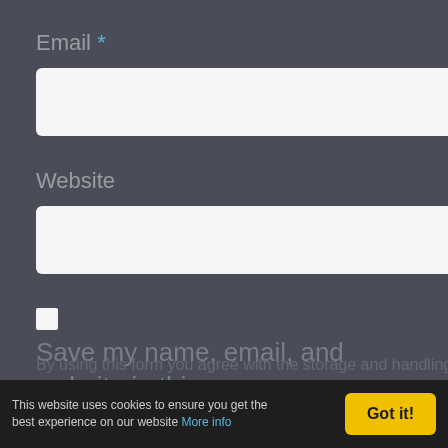Email *
[Figure (other): Email input text field, white rounded rectangle]
Website
[Figure (other): Website input text field, white rounded rectangle]
[Figure (other): Checkbox unchecked, white square]
Save my name, email, and website in this browser for the next time I comment.
This website uses cookies to ensure you get the best experience on our website More info  Got it!